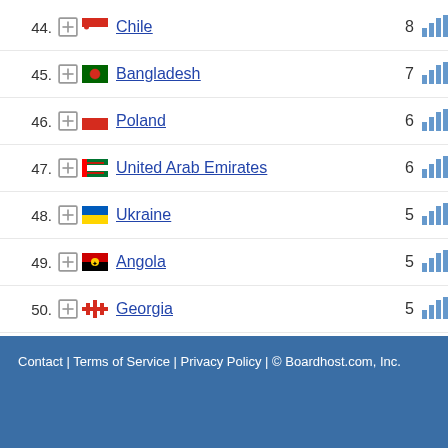44. Chile 8
45. Bangladesh 7
46. Poland 6
47. United Arab Emirates 6
48. Ukraine 5
49. Angola 5
50. Georgia 5
Page: 1 2 3 >
Contact | Terms of Service | Privacy Policy | © Boardhost.com, Inc.